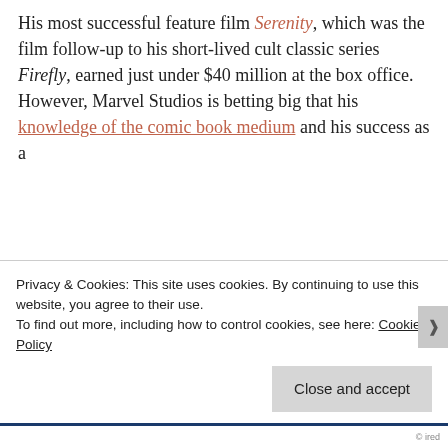His most successful feature film Serenity, which was the film follow-up to his short-lived cult classic series Firefly, earned just under $40 million at the box office. However, Marvel Studios is betting big that his knowledge of the comic book medium and his success as a
Privacy & Cookies: This site uses cookies. By continuing to use this website, you agree to their use.
To find out more, including how to control cookies, see here: Cookie Policy
Close and accept